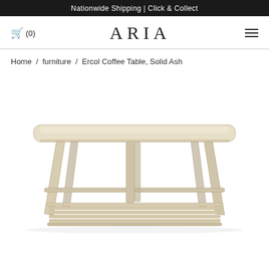Nationwide Shipping | Click & Collect
🛒 (0)   ARIA   ≡
Home / furniture / Ercol Coffee Table, Solid Ash
[Figure (photo): Ercol coffee table in solid ash with rounded rectangular top, angled wooden legs, and a slatted lower shelf. Light natural wood finish on white background.]